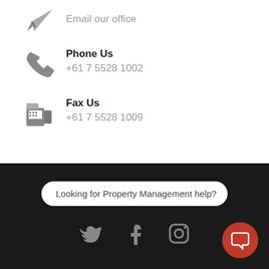Email our office
Phone Us
+61 7 5528 1002
Fax Us
+61 7 5528 1009
Looking for Property Management help?
[Figure (illustration): Social media icons: Twitter, Facebook, Instagram, and a red chat bubble button]